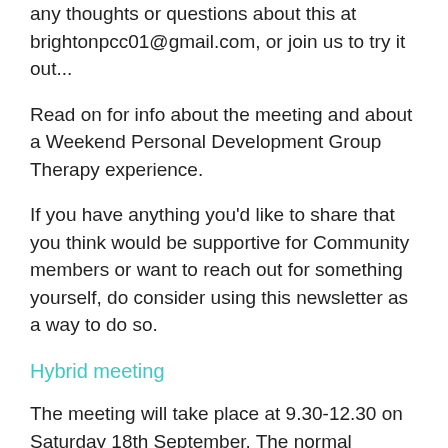any thoughts or questions about this at brightonpcc01@gmail.com, or join us to try it out...
Read on for info about the meeting and about a Weekend Personal Development Group Therapy experience.
If you have anything you'd like to share that you think would be supportive for Community members or want to reach out for something yourself, do consider using this newsletter as a way to do so.
Hybrid meeting
The meeting will take place at 9.30-12.30 on Saturday 18th September. The normal suggested donation whether attending in person or connecting is